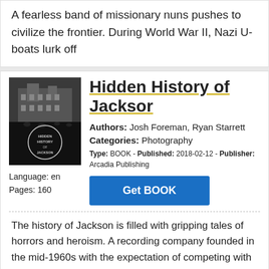A fearless band of missionary nuns pushes to civilize the frontier. During World War II, Nazi U-boats lurk off
[Figure (photo): Book cover of 'Hidden History of Jackson' showing a black and white historical photo of a building with people, with circular logo text overlay]
Hidden History of Jackson
Authors: Josh Foreman, Ryan Starrett
Categories: Photography
Type: BOOK - Published: 2018-02-12 - Publisher: Arcadia Publishing
Language: en
Pages: 160
The history of Jackson is filled with gripping tales of horrors and heroism. A recording company founded in the mid-1960s with the expectation of competing with New Orleans and Memphis was a national